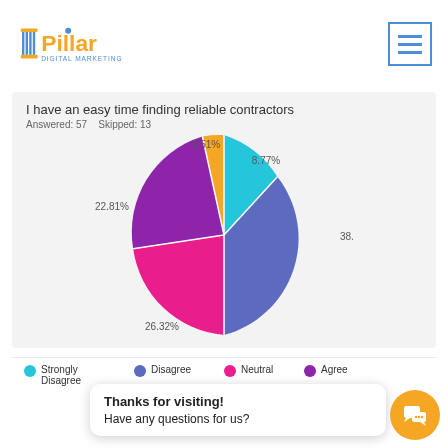[Figure (logo): Pillar Digital Marketing logo with orange pillar icon and blue/orange text]
I have an easy time finding reliable contractors
Answered: 57    Skipped: 13
[Figure (pie-chart): I have an easy time finding reliable contractors]
Strongly Disagree
Disagree
Neutral
Agree
Thanks for visiting!
Have any questions for us?